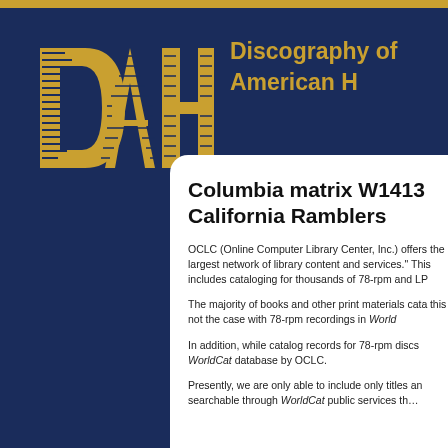[Figure (logo): DAHR logo with stylized gold letters on dark blue background, alongside text 'Discography of American Historical Recordings']
Columbia matrix W1413 California Ramblers
OCLC (Online Computer Library Center, Inc.) offers the largest network of library content and services. This includes cataloging for thousands of 78-rpm and LP...
The majority of books and other print materials cataloged... this is not the case with 78-rpm recordings in WorldCat...
In addition, while catalog records for 78-rpm discs... WorldCat database by OCLC.
Presently, we are only able to include only titles and searchable through WorldCat public services th...